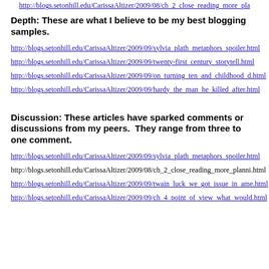http://blogs.setonhill.edu/CarissaAltizer/2009/08/ch_2_close_reading_more_pla...
Depth: These are what I believe to be my best blogging samples.
http://blogs.setonhill.edu/CarissaAltizer/2009/09/sylvia_plath_metaphors_spoiler.html
http://blogs.setonhill.edu/CarissaAltizer/2009/09/twenty-first_century_storytell.html
http://blogs.setonhill.edu/CarissaAltizer/2009/09/on_turning_ten_and_childhood_d.html
http://blogs.setonhill.edu/CarissaAltizer/2009/09/hardy_the_man_he_killed_after.html
Discussion: These articles have sparked comments or discussions from my peers.  They range from three to one comment.
http://blogs.setonhill.edu/CarissaAltizer/2009/09/sylvia_plath_metaphors_spoiler.html
http://blogs.setonhill.edu/CarissaAltizer/2009/08/ch_2_close_reading_more_planni.html
http://blogs.setonhill.edu/CarissaAltizer/2009/09/twain_luck_we_got_issue_in_ame.html
http://blogs.setonhill.edu/CarissaAltizer/2009/09/ch_4_point_of_view_what_would.html